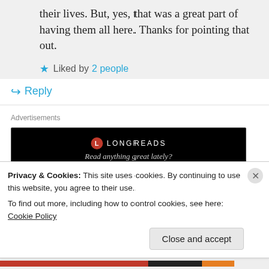their lives. But, yes, that was a great part of having them all here. Thanks for pointing that out.
Liked by 2 people
Reply
Advertisements
[Figure (other): Longreads advertisement banner: black background with Longreads logo and text 'Read anything great lately?']
rottlady on December 1, 2015 at 10:51 pm
Privacy & Cookies: This site uses cookies. By continuing to use this website, you agree to their use.
To find out more, including how to control cookies, see here: Cookie Policy
Close and accept